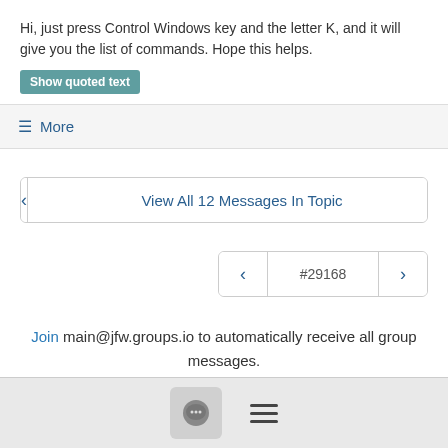Hi, just press Control Windows key and the letter K, and it will give you the list of commands.  Hope this helps.
Show quoted text
≡ More
View All 12 Messages In Topic
#29168
Join main@jfw.groups.io to automatically receive all group messages.
[Figure (screenshot): Footer bar with chat bubble icon and hamburger menu icon]